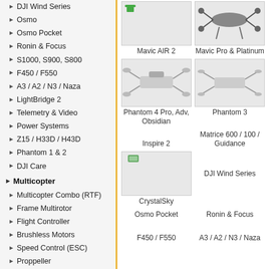DJI Wind Series
Osmo
Osmo Pocket
Ronin & Focus
S1000, S900, S800
F450 / F550
A3 / A2 / N3 / Naza
LightBridge 2
Telemetry & Video
Power Systems
Z15 / H33D / H43D
Phantom 1 & 2
DJI Care
Multicopter
Multicopter Combo (RTF)
Frame Multirotor
Flight Controller
Brushless Motors
Speed Control (ESC)
Proppeller
Landing Gear
Fly Simulator
Flight Case
Accessories
Fiber, Carbon, tube,..
Gimbal
Frame & Parts
Gimbal Combo
Gimbal RTF
Electronic
GMB Motors
Gimbal with servos
Micro Dron
[Figure (photo): Mavic AIR 2 drone product photo]
Mavic AIR 2
[Figure (photo): Mavic Pro & Platinum drone product photo]
Mavic Pro & Platinum
[Figure (photo): Phantom 4 Pro, Adv, Obsidian drone product photo]
Phantom 4 Pro, Adv, Obsidian
[Figure (photo): Phantom 3 drone product photo]
Phantom 3
Inspire 2
Matrice 600 / 100 / Guidance
[Figure (photo): CrystalSky product photo]
CrystalSky
DJI Wind Series
Osmo Pocket
Ronin & Focus
F450 / F550
A3 / A2 / N3 / Naza